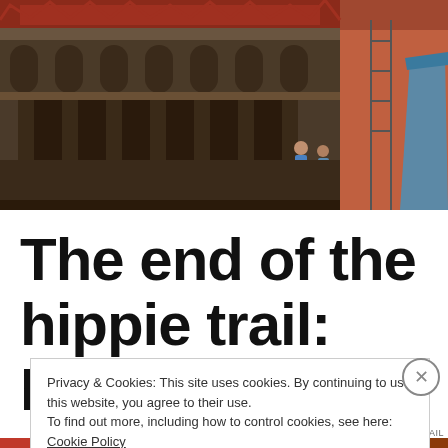[Figure (photo): Ornate carved stone temple facade with multiple arched niches and elaborate decorative carvings, likely a Nepali temple at Durbar Square. A blue tarpaulin is visible on the right, and people can be seen in the background.]
The end of the hippie trail: Freak
Privacy & Cookies: This site uses cookies. By continuing to use this website, you agree to their use.
To find out more, including how to control cookies, see here: Cookie Policy
Close and accept